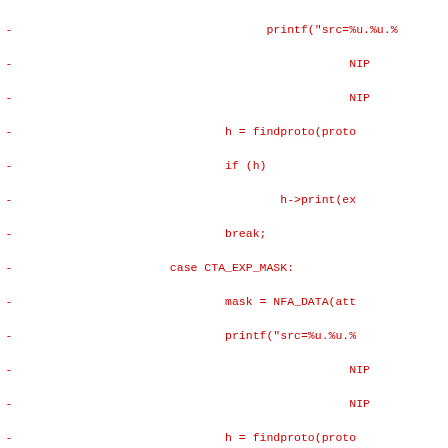[Figure (other): Code diff showing removed lines (red, marked with -) and added lines (green, marked with +) for a C/C++ source file involving NFA attribute parsing with cases CTA_EXP_MASK, CTA_EXP_TIMEOUT, and NFA_OK loop.]